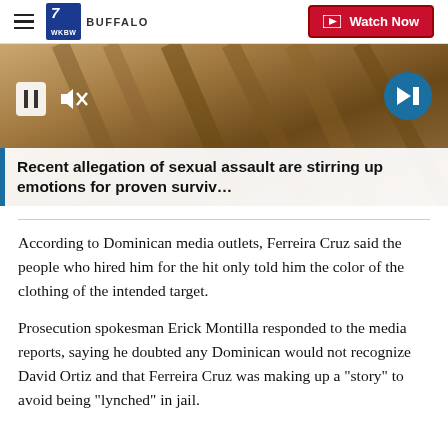7 WKBW BUFFALO | Watch Now
[Figure (screenshot): Video player thumbnail showing wooden slats/planks background with pause button, mute button, and next arrow button overlaid]
Recent allegation of sexual assault are stirring up emotions for proven surviv…
According to Dominican media outlets, Ferreira Cruz said the people who hired him for the hit only told him the color of the clothing of the intended target.
Prosecution spokesman Erick Montilla responded to the media reports, saying he doubted any Dominican would not recognize David Ortiz and that Ferreira Cruz was making up a "story" to avoid being "lynched" in jail.